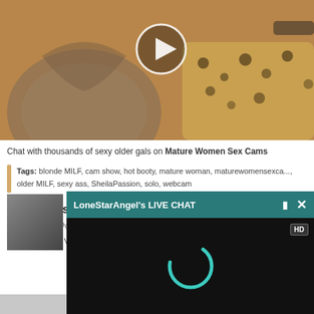[Figure (photo): Blonde woman in leopard print outfit posing on a bed with a play button overlay, video thumbnail]
Chat with thousands of sexy older gals on Mature Women Sex Cams
Tags: blonde MILF, cam show, hot booty, mature woman, maturewomensexca..., older MILF, sexy ass, SheilaPassion, solo, webcam
MILF VanessaHoward Has the Perfect Breasts
Oct 26th, 2019 Posted by ... Videos | Comments O...
Yup, that's right. Vane... loves to show it off eve...
[Figure (screenshot): LoneStarAngel's LIVE CHAT overlay window with HD video loading screen showing teal loading circle]